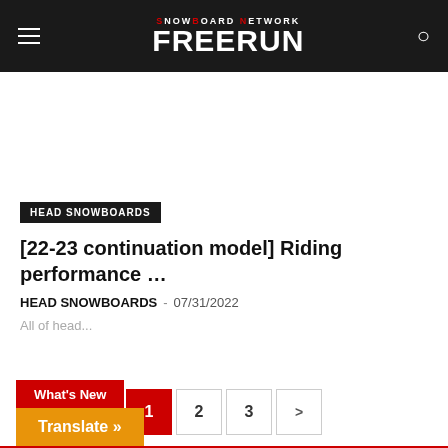SNOWBOARD NETWORK FREERUN
HEAD SNOWBOARDS
[22-23 continuation model] Riding performance …
HEAD SNOWBOARDS · 07/31/2022
All of head...
Pagination: 1 2 3 >
What's New
Translate »